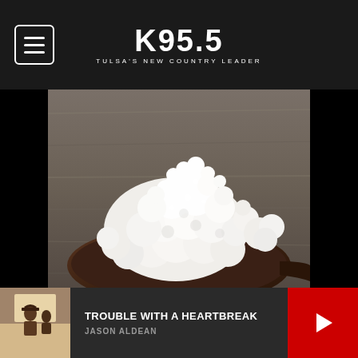K95.5 — TULSA'S NEW COUNTRY LEADER
[Figure (photo): Close-up photograph of white kefir grains piled on a dark wooden spoon, set on a rustic grey wooden surface]
TROUBLE WITH A HEARTBREAK
JASON ALDEAN